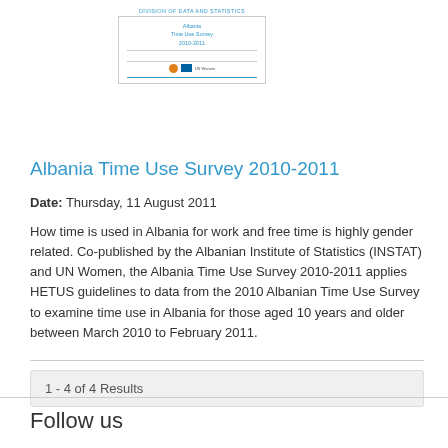[Figure (other): Thumbnail image of the Albania Time Use Survey 2010-2011 report cover, showing logos and title text in small scale]
Albania Time Use Survey 2010-2011
Date: Thursday, 11 August 2011
How time is used in Albania for work and free time is highly gender related. Co-published by the Albanian Institute of Statistics (INSTAT) and UN Women, the Albania Time Use Survey 2010-2011 applies HETUS guidelines to data from the 2010 Albanian Time Use Survey to examine time use in Albania for those aged 10 years and older between March 2010 to February 2011.
1 - 4 of 4 Results
Follow us